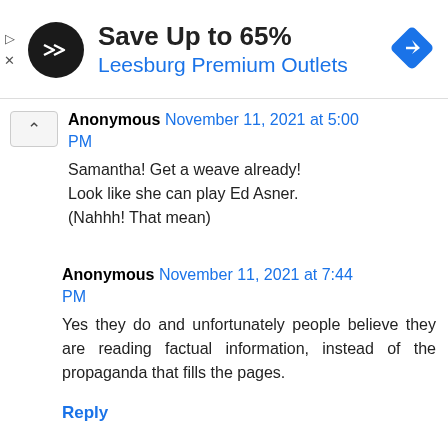[Figure (infographic): Advertisement banner: circular black logo with double arrow chevron icon, text 'Save Up to 65%' in bold black, 'Leesburg Premium Outlets' in blue, blue diamond navigation icon on right, play and close controls on left]
Anonymous November 11, 2021 at 5:00 PM
Samantha! Get a weave already! Look like she can play Ed Asner. (Nahhh! That mean)
Anonymous November 11, 2021 at 7:44 PM
Yes they do and unfortunately people believe they are reading factual information, instead of the propaganda that fills the pages.
Reply